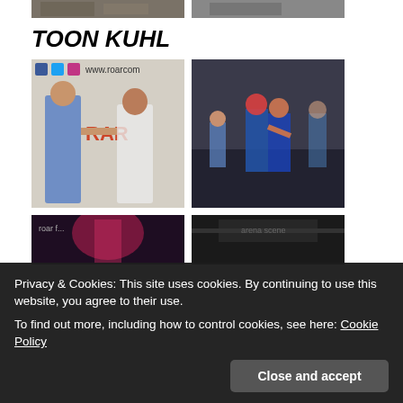[Figure (photo): Two cropped photos at top of page — left shows a combat sports scene, right shows another fighting/sports image]
TOON KUHL
[Figure (photo): Left photo: two women facing each other in front of a Roar branded backdrop with social media icons (Facebook, Twitter, Instagram) and www.roarcom URL. Right photo: people sparring/grappling in a gym.]
[Figure (photo): Left photo: event scene with pink/red lighting and a performer. Right photo: dark gym or arena scene.]
Privacy & Cookies: This site uses cookies. By continuing to use this website, you agree to their use.
To find out more, including how to control cookies, see here: Cookie Policy
Close and accept